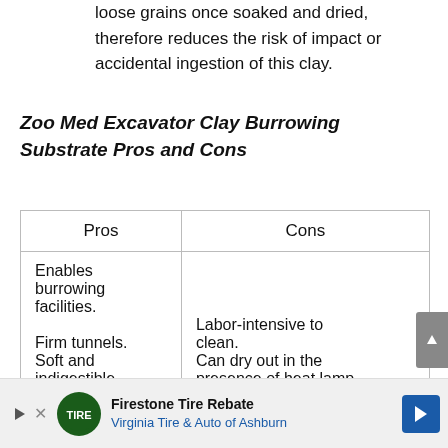loose grains once soaked and dried, therefore reduces the risk of impact or accidental ingestion of this clay.
Zoo Med Excavator Clay Burrowing Substrate Pros and Cons
| Pros | Cons |
| --- | --- |
| Enables burrowing facilities.
Firm tunnels.
Soft and indigestible. | Labor-intensive to clean.
Can dry out in the presence of heat lamp |
[Figure (other): Advertisement banner: Firestone Tire Rebate - Virginia Tire & Auto of Ashburn]